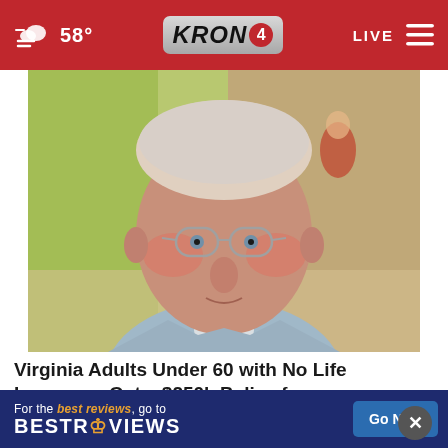58° KRON 4 LIVE
[Figure (photo): Elderly man with glasses wearing a light blue jacket, photographed in close-up against a blurred background]
Virginia Adults Under 60 with No Life Insurance Get a $250k Policy for $18/month
Smart Lifestyle Trends
[Figure (screenshot): BestReviews advertisement banner: 'For the best reviews, go to BESTREVIEWS' with a 'Go Now' button]
For the best reviews, go to BESTREVIEWS Go Now